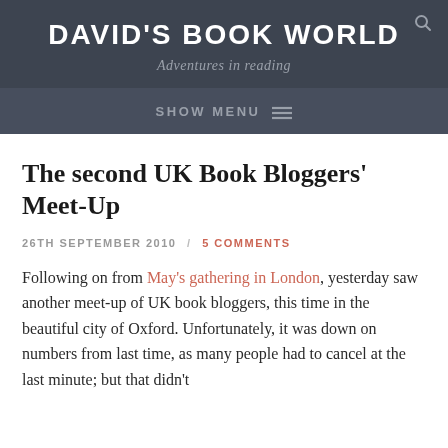DAVID'S BOOK WORLD
Adventures in reading
SHOW MENU
The second UK Book Bloggers' Meet-Up
26TH SEPTEMBER 2010 / 5 COMMENTS
Following on from May's gathering in London, yesterday saw another meet-up of UK book bloggers, this time in the beautiful city of Oxford. Unfortunately, it was down on numbers from last time, as many people had to cancel at the last minute; but that didn't